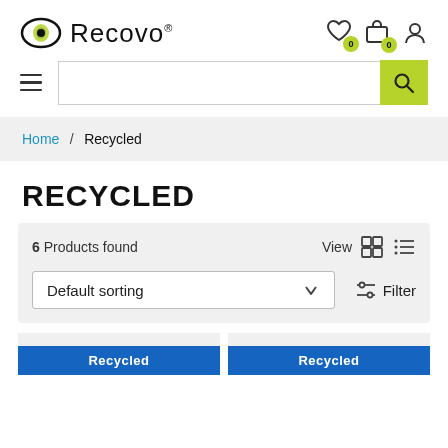[Figure (logo): Recovo logo with eye/leaf icon and wordmark]
[Figure (screenshot): Navigation header with hamburger menu and search bar with yellow search button]
Home / Recycled
RECYCLED
6 Products found
Default sorting
Filter
Recycled
Recycled